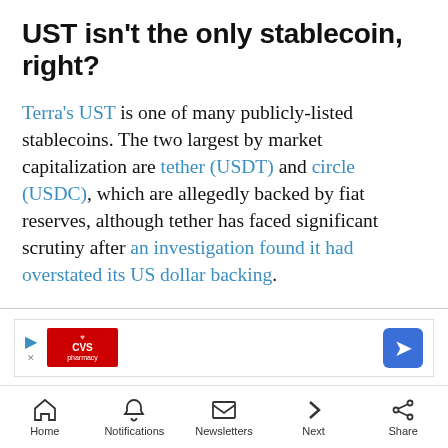UST isn't the only stablecoin, right?
Terra's UST is one of many publicly-listed stablecoins. The two largest by market capitalization are tether (USDT) and circle (USDC), which are allegedly backed by fiat reserves, although tether has faced significant scrutiny after an investigation found it had overstated its US dollar backing.
Some stablecoins are backed by other fiat currencies, or by precious metals like gold and silver.
[Figure (other): CVS Pharmacy advertisement banner with navigation arrow icon]
Home | Notifications | Newsletters | Next | Share